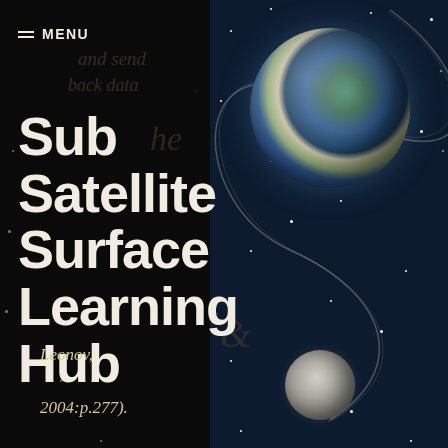≡ MENU
Sub Satellite Surface Learning Hub
Leonov, 2004:p.277).
[Figure (illustration): Space illustration showing Earth with orbital path and a satellite/capsule at the bottom, on a dark starfield background]